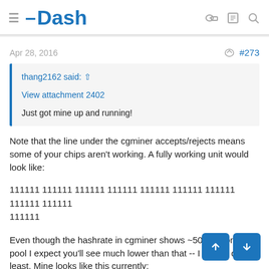Dash
Apr 28, 2016   #273
thang2162 said: ↑
View attachment 2402
Just got mine up and running!
Note that the line under the cgminer accepts/rejects means some of your chips aren't working. A fully working unit would look like:
111111 111111 111111 111111 111111 111111 111111 111111 111111 111111
Even though the hashrate in cgminer shows ~500Mh, on a pool I expect you'll see much lower than that -- I know I do at least. Mine looks like this currently: